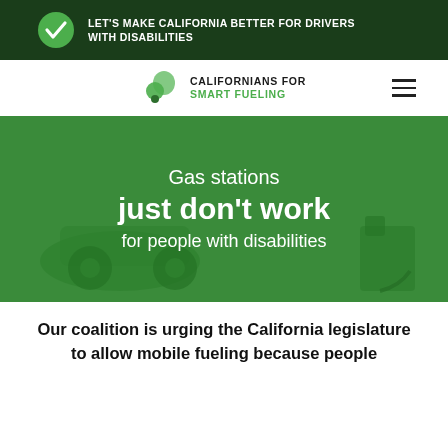[Figure (screenshot): Dark green banner with white checkmark circle icon and bold white text: LET'S MAKE CALIFORNIA BETTER FOR DRIVERS WITH DISABILITIES]
[Figure (logo): Californians for Smart Fueling logo with green bubble/drop shapes and hamburger menu icon on the right]
[Figure (photo): Hero image with green overlay showing a gas station scene. Text overlay reads: Gas stations just don't work for people with disabilities]
Our coalition is urging the California legislature to allow mobile fueling because people